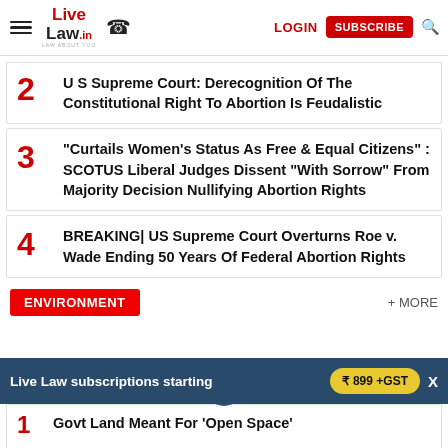Live Law | LOGIN | SUBSCRIBE
2 U S Supreme Court: Derecognition Of The Constitutional Right To Abortion Is Feudalistic
3 "Curtails Women's Status As Free & Equal Citizens" : SCOTUS Liberal Judges Dissent "With Sorrow" From Majority Decision Nullifying Abortion Rights
4 BREAKING| US Supreme Court Overturns Roe v. Wade Ending 50 Years Of Federal Abortion Rights
ENVIRONMENT
+ MORE
Live Law subscriptions starting ₹ 899 +GST X
1 Govt Land Meant For 'Open Space'